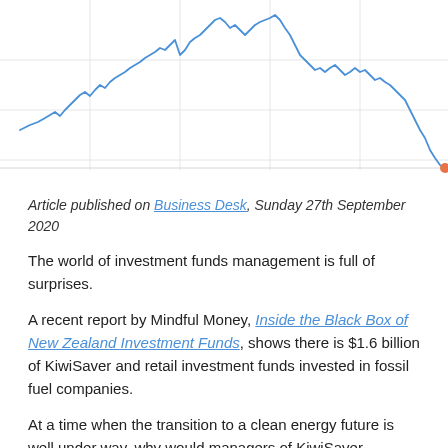[Figure (continuous-plot): A line chart showing a financial time series (likely an energy or fossil fuel stock index). The blue line trends upward from left with volatility, peaks in the middle, then drops sharply at the far right end. An orange dot marks the final data point at the bottom of the sharp decline.]
Article published on Business Desk, Sunday 27th September 2020
The world of investment funds management is full of surprises.
A recent report by Mindful Money, Inside the Black Box of New Zealand Investment Funds, shows there is $1.6 billion of KiwiSaver and retail investment funds invested in fossil fuel companies.
At a time when the transition to a clean energy future is well under way, why would managers of KiwiSaver